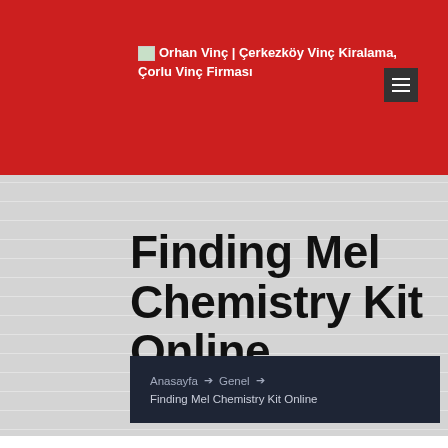Orhan Vinç | Çerkezköy Vinç Kiralama, Çorlu Vinç Firması
Finding Mel Chemistry Kit Online
Anasayfa → Genel → Finding Mel Chemistry Kit Online